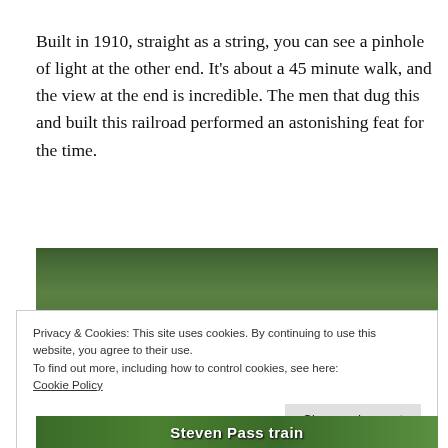Built in 1910, straight as a string, you can see a pinhole of light at the other end. It's about a 45 minute walk, and the view at the end is incredible. The men that dug this and built this railroad performed an astonishing feat for the time.
[Figure (photo): Photograph showing forest and trees, with what appears to be a railroad structure visible. Bottom portion shows text 'Steven Pass train'.]
Privacy & Cookies: This site uses cookies. By continuing to use this website, you agree to their use.
To find out more, including how to control cookies, see here:
Cookie Policy
Close and accept